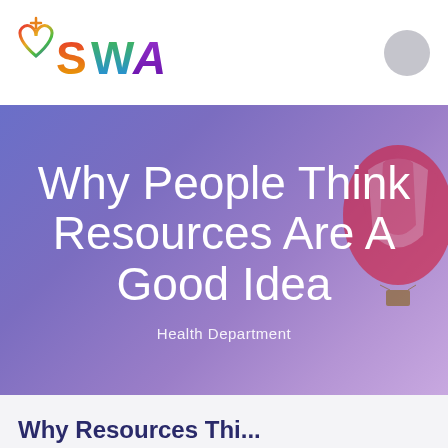SWA Health Department
[Figure (logo): SWA logo with rainbow heart and cross icon and colorful SWA text]
Why People Think Resources Are A Good Idea
Health Department
Why Resources Think...